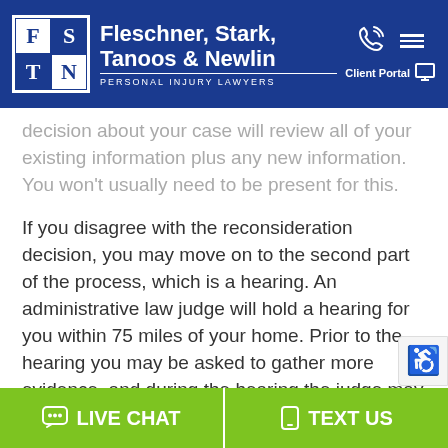[Figure (logo): Fleschner, Stark, Tanoos & Newlin Personal Injury Lawyers logo with FSTN grid and navigation icons on blue header background]
decision about your case will review all of your existing information plus any new information. You won't usually need to be present for this.
If you disagree with the reconsideration decision, you may move on to the second part of the process, which is a hearing. An administrative law judge will hold a hearing for you within 75 miles of your home. Prior to the hearing you may be asked to gather more evidence, and during the hearing the judge may ask questions of you and any witnesses you've brought along. It is strongly recommended that you attend this hearing. Afterw